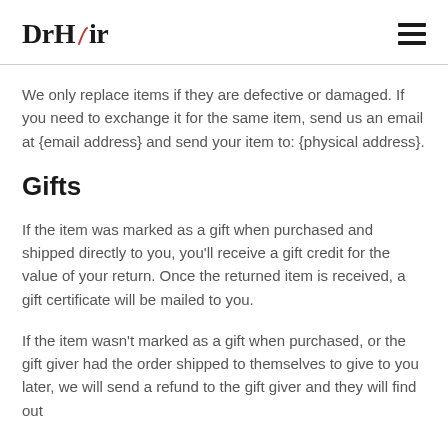DrHair
We only replace items if they are defective or damaged. If you need to exchange it for the same item, send us an email at {email address} and send your item to: {physical address}.
Gifts
If the item was marked as a gift when purchased and shipped directly to you, you'll receive a gift credit for the value of your return. Once the returned item is received, a gift certificate will be mailed to you.
If the item wasn't marked as a gift when purchased, or the gift giver had the order shipped to themselves to give to you later, we will send a refund to the gift giver and they will find out